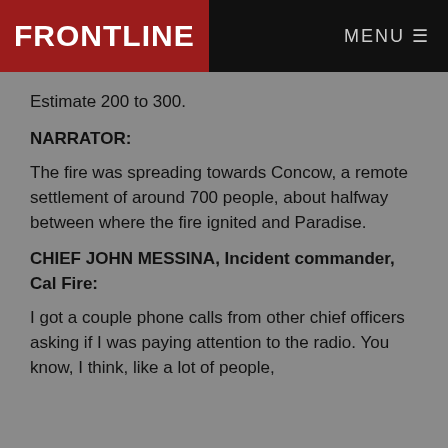FRONTLINE | MENU
Estimate 200 to 300.
NARRATOR:
The fire was spreading towards Concow, a remote settlement of around 700 people, about halfway between where the fire ignited and Paradise.
CHIEF JOHN MESSINA, Incident commander, Cal Fire:
I got a couple phone calls from other chief officers asking if I was paying attention to the radio. You know, I think, like a lot of people,